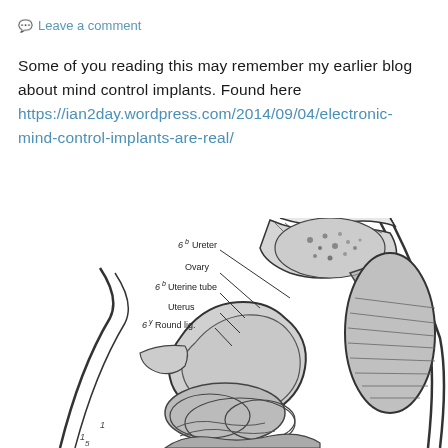Leave a comment
Some of you reading this may remember my earlier blog about mind control implants. Found here https://ian2day.wordpress.com/2014/09/04/electronic-mind-control-implants-are-real/
[Figure (illustration): Medical anatomical cross-section illustration of the female pelvis showing labeled structures including Ureter, Ovary, Uterine tube, Uterus, and Round lig. Labels include handwritten-style annotations with numbers 6b, 6b, 6b, 6y.]